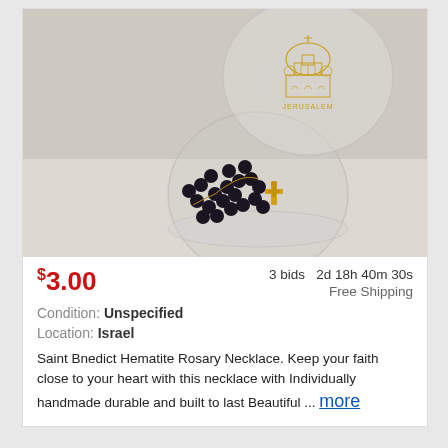[Figure (photo): A clear round plastic container labeled JERUSALEM with a gold domed church illustration on the lid, containing a black hematite rosary with dark beads and a gold crucifix, placed on a light beige surface.]
$3.00   3 bids  2d 18h 40m 30s
Free Shipping
Condition: Unspecified
Location: Israel
Saint Bnedict Hematite Rosary Necklace. Keep your faith close to your heart with this necklace with Individually handmade durable and built to last Beautiful ... more